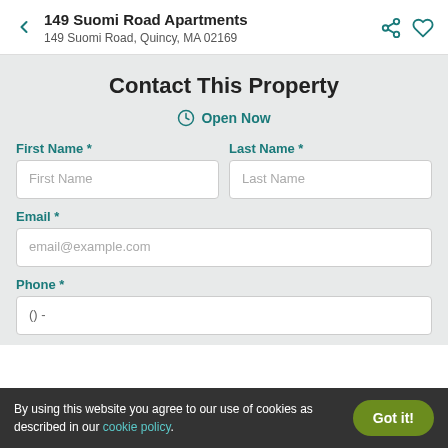149 Suomi Road Apartments
149 Suomi Road, Quincy, MA 02169
Contact This Property
Open Now
First Name *
Last Name *
Email *
Phone *
By using this website you agree to our use of cookies as described in our cookie policy.